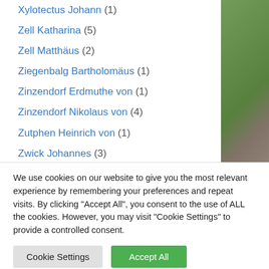Xylotectus Johann (1)
Zell Katharina (5)
Zell Matthäus (2)
Ziegenbalg Bartholomäus (1)
Zinzendorf Erdmuthe von (1)
Zinzendorf Nikolaus von (4)
Zutphen Heinrich von (1)
Zwick Johannes (3)
Zwingli Anna (1)
We use cookies on our website to give you the most relevant experience by remembering your preferences and repeat visits. By clicking "Accept All", you consent to the use of ALL the cookies. However, you may visit "Cookie Settings" to provide a controlled consent.